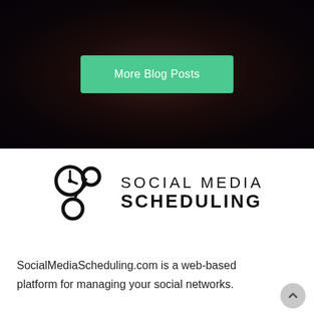[Figure (screenshot): Dark background section of a website with a green 'More Blog Posts' button centered on it]
More Blog Posts
[Figure (logo): Social Media Scheduling logo with clock and gear icons next to the text 'SOCIAL MEDIA SCHEDULING']
SocialMediaScheduling.com is a web-based platform for managing your social networks.